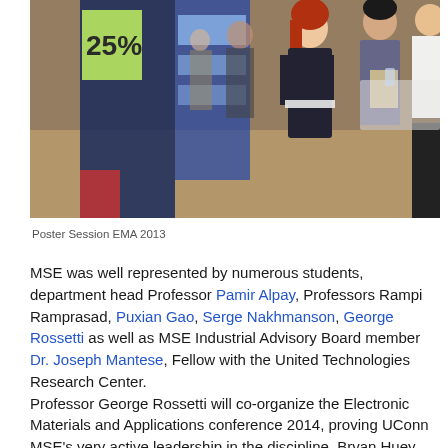[Figure (photo): Photo of people at a poster session event, with research posters displayed and attendees interacting. A woman with red hair holds materials, another person in grey holds a clipboard, and others are visible in the background.]
Poster Session EMA 2013
MSE was well represented by numerous students, department head Professor Pamir Alpay, Professors Rampi Ramprasad, Puxian Gao, Serge Nakhmanson, George Rossetti as well as MSE Industrial Advisory Board member Dr. Joseph Mantese, Fellow with the United Technologies Research Center. Professor George Rossetti will co-organize the Electronic Materials and Applications conference 2014, proving UConn MSE's very active leadership in the discipline. Bryan Huey was elected as the secretary for the Basic Science Division of the American Ceramic Society, a